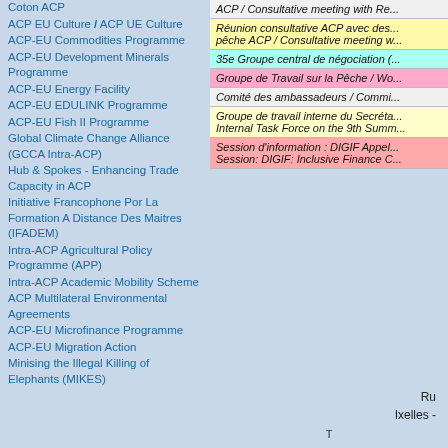Coton ACP
ACP EU Culture / ACP UE Culture
ACP-EU Commodities Programme
ACP-EU Development Minerals Programme
ACP-EU Energy Facility
ACP-EU EDULINK Programme
ACP-EU Fish II Programme
Global Climate Change Alliance (GCCA Intra-ACP)
Hub & Spokes - Enhancing Trade Capacity in ACP
Initiative Francophone Por La Formation A Distance Des Maitres (IFADEM)
Intra-ACP Agricultural Policy Programme (APP)
Intra-ACP Academic Mobility Scheme
ACP Multilateral Environmental Agreements
ACP-EU Microfinance Programme
ACP-EU Migration Action
Minising the Illegal Killing of Elephants (MIKES)
ACP / Consultative meeting with Re...
Réunion consultative ACP avec des... pêche ACP / Consultative meeting w...
35e Groupe central de négociation (...
Groupe de Travail sur la Pêche / Wo...
Comité des ambassadeurs / Commi...
Groupe de travail interne du Secrétа... Internal Task Force on the 9th Summ...
Session d'information : DIGIF Appel... Session: DIGIF: Inclusive Finance C...
Ru Ixelles -
T